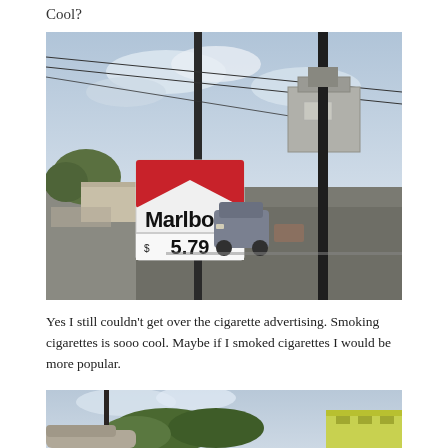Cool?
[Figure (photo): Street corner photo showing a Marlboro cigarette advertisement sign on a pole with price $5.79, utility boxes and poles in background, cars and suburban street scene]
Yes I still couldn’t get over the cigarette advertising. Smoking cigarettes is sooo cool. Maybe if I smoked cigarettes I would be more popular.
[Figure (photo): Partial street scene photo showing trees, a car rooftop, and a colorful building in the background under cloudy sky]